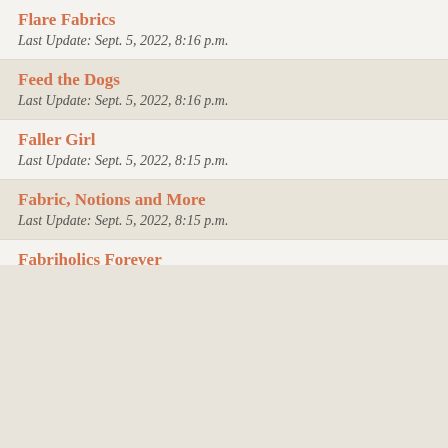Flare Fabrics
Last Update: Sept. 5, 2022, 8:16 p.m.
Feed the Dogs
Last Update: Sept. 5, 2022, 8:16 p.m.
Faller Girl
Last Update: Sept. 5, 2022, 8:15 p.m.
Fabric, Notions and More
Last Update: Sept. 5, 2022, 8:15 p.m.
Fabriholics Forever
Last Update: Sept. 5, 2022, 8:15 p.m.